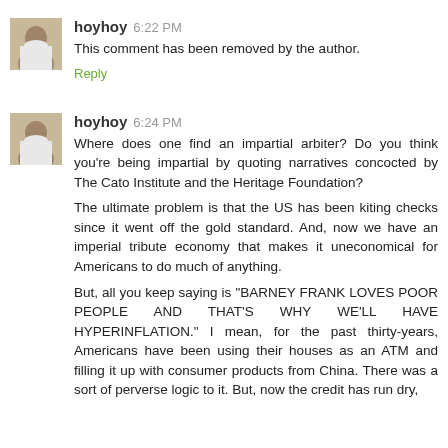hoyhoy 6:22 PM
This comment has been removed by the author.
Reply
hoyhoy 6:24 PM
Where does one find an impartial arbiter? Do you think you're being impartial by quoting narratives concocted by The Cato Institute and the Heritage Foundation?
The ultimate problem is that the US has been kiting checks since it went off the gold standard. And, now we have an imperial tribute economy that makes it uneconomical for Americans to do much of anything.
But, all you keep saying is "BARNEY FRANK LOVES POOR PEOPLE AND THAT'S WHY WE'LL HAVE HYPERINFLATION." I mean, for the past thirty-years, Americans have been using their houses as an ATM and filling it up with consumer products from China. There was a sort of perverse logic to it. But, now the credit has run dry,